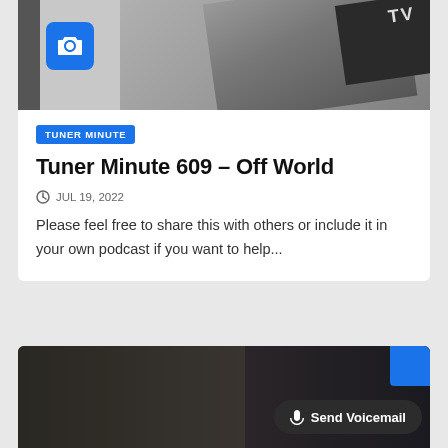[Figure (photo): Top portion of article card showing a partial image with a camera icon overlay on the left and a hand holding something near a TV screen on the right, clipped at top]
TUNER MINUTE
Tuner Minute 609 – Off World
JUL 19, 2022
Please feel free to share this with others or include it in your own podcast if you want to help...
[Figure (photo): Bottom card showing a dark blurred interior photo with a Send Voicemail button overlay and a blue icon in the top-right corner]